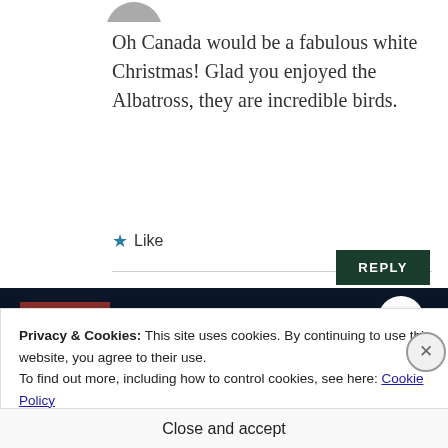[Figure (photo): Partial avatar/profile photo visible at top of page]
Oh Canada would be a fabulous white Christmas! Glad you enjoyed the Albatross, they are incredible birds.
★ Like
[Figure (screenshot): Dark navy banner with red bar and white circle, partially visible below comment thread]
Privacy & Cookies: This site uses cookies. By continuing to use this website, you agree to their use.
To find out more, including how to control cookies, see here: Cookie Policy
Close and accept